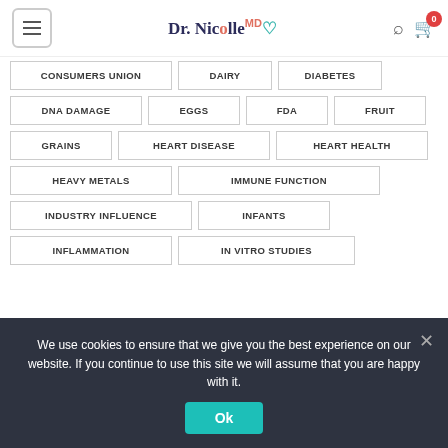Dr. Nicolle MD — navigation header with hamburger menu, logo, search icon, and cart (0 items)
CONSUMERS UNION
DAIRY
DIABETES
DNA DAMAGE
EGGS
FDA
FRUIT
GRAINS
HEART DISEASE
HEART HEALTH
HEAVY METALS
IMMUNE FUNCTION
INDUSTRY INFLUENCE
INFANTS
INFLAMMATION
IN VITRO STUDIES
We use cookies to ensure that we give you the best experience on our website. If you continue to use this site we will assume that you are happy with it.